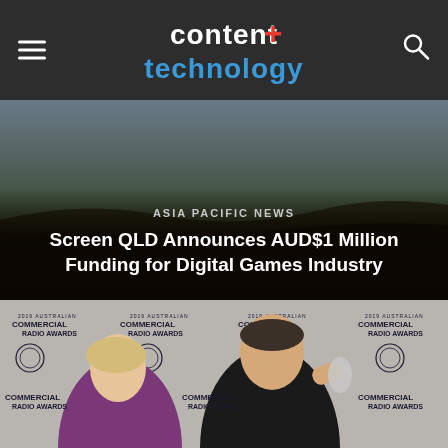content + technology
[Figure (photo): Top article hero image with dark background showing outdoor scene, overlaid with article category 'ASIA PACIFIC NEWS' and article title text]
ASIA PACIFIC NEWS
Screen QLD Announces AUD$1 Million Funding for Digital Games Industry
[Figure (photo): Photo of two people at the 2019 Australian Commercial Radio Awards event backdrop. A blonde woman in a purple outfit laughing on the left, and a man in a dark suit holding an award trophy on the right.]